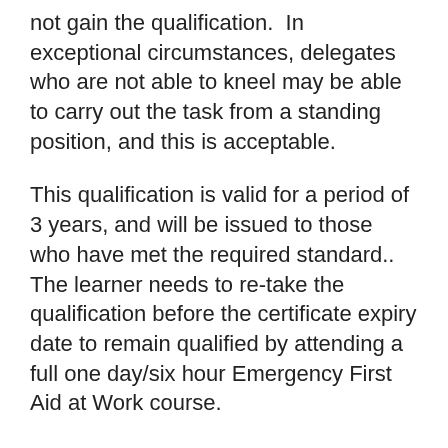not gain the qualification.  In exceptional circumstances, delegates who are not able to kneel may be able to carry out the task from a standing position, and this is acceptable.
This qualification is valid for a period of 3 years, and will be issued to those who have met the required standard.. The learner needs to re-take the qualification before the certificate expiry date to remain qualified by attending a full one day/six hour Emergency First Aid at Work course.
Delegates will be provided with a course manual to keep.
This course is mandatory for care providing staff in HASC provider services.
Essential Information